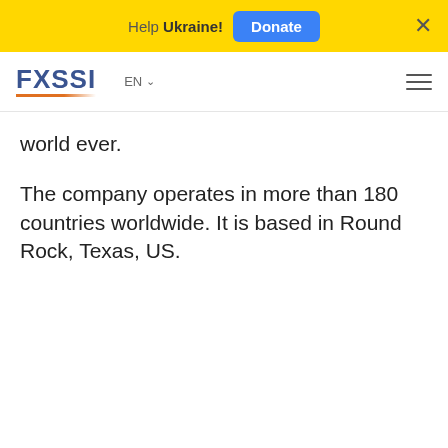Help Ukraine! Donate
[Figure (logo): FXSSI logo with orange underline, EN language selector, and hamburger menu icon]
world ever.
The company operates in more than 180 countries worldwide. It is based in Round Rock, Texas, US.